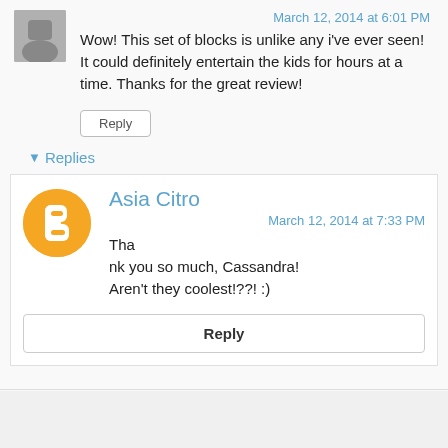[Figure (photo): Small avatar/profile photo thumbnail in top left]
March 12, 2014 at 6:01 PM
Wow! This set of blocks is unlike any i've ever seen! It could definitely entertain the kids for hours at a time. Thanks for the great review!
Reply
Replies
[Figure (logo): Blogger orange circle icon with white 'B' letter]
Asia Citro
March 12, 2014 at 7:33 PM
Thank you so much, Cassandra! Aren't they coolest!??! :)
Reply